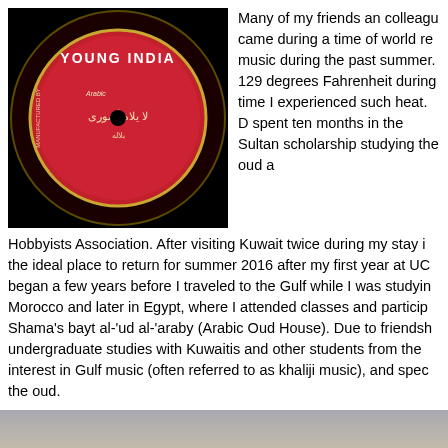[Figure (photo): A red vinyl record labeled 'YOUNG INDIA' with Arabic text, on a black background]
Many of my friends an colleagues came during a time of world re... music during the past summer. 129 degrees Fahrenheit during... time I experienced such heat. D... spent ten months in the Sultan... scholarship studying the oud  a...
Hobbyists Association. After visiting Kuwait twice during my stay i... the ideal place to return for summer 2016 after my first year at UC... began a few years before I traveled to the Gulf while I was studyin... Morocco and later in Egypt, where I attended classes and particip... Shama's bayt al-'ud al-'araby (Arabic Oud House). Due to friendsh... undergraduate studies with Kuwaitis and other students from the ... interest in Gulf music (often referred to as khaliji music), and spec... the oud.
[Figure (photo): A landscape photo showing a desert or hazy outdoor scene with muted beige and grey tones]